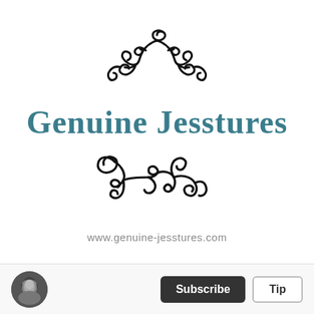[Figure (logo): Genuine Jesstures brand logo with decorative black flourish/scroll ornaments above and below the brand name in teal/dark cyan serif font, with website URL below]
www.genuine-jesstures.com
[Figure (photo): Small circular avatar photo of a woman in black and white]
Subscribe
Tip